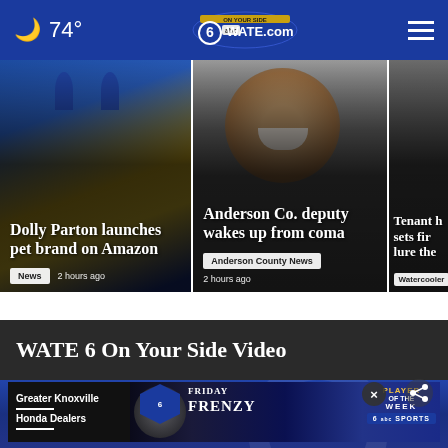🌙 74° WATE.com
[Figure (screenshot): News card: Dolly Parton launches pet brand on Amazon. Tag: News. Time: 2 hours ago]
[Figure (screenshot): News card: Anderson Co. deputy wakes up from coma. Tag: Anderson County News. Time: 2 hours ago]
[Figure (screenshot): News card (partially visible): Tenant sets fire to lure them. Tag: Watercooler]
WATE 6 On Your Side Video
[Figure (screenshot): Video thumbnail with advertisement banner: Greater Knoxville Honda Dealers - Friday Frenzy, Player of the Week, SPORTS]